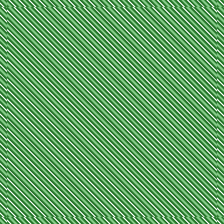فَانبَجَسَتْ مِنْهُ اثْنَتَا عَشْرَةَ عَيْنًا قَد عَلِمَ كُلُّ أُنَاسٍ مَشْرَبَهُمْ وَظَلَّلْنَا عَلَيْهِمُ الْغَمَامَ وَأَنزَلْنَا عَلَيْهِمُ الْمَنَّ وَالسَّلْوَى كُلُوا مِن طَيِّبَاتِ مَا رَزَقْنَاكُمْ وَمَا ظَلَمُونَا وَلَكِن كَانُوا أَنفُسَهُمْ يَظْلِمُونَ ﴿١٦٠﴾
And We divided them into twelve tribes, as nations; and We revealed to Musa when his people asked him for water: Strike the rock with your staff, so outnowed from it twelve springs; each tribe knew its drinking place; and We made the clouds to give